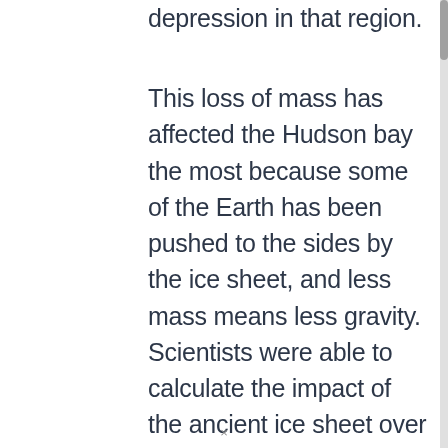depression in that region.
This loss of mass has affected the Hudson bay the most because some of the Earth has been pushed to the sides by the ice sheet, and less mass means less gravity. Scientists were able to calculate the impact of the ancient ice sheet over that region from the data of the GRACE satellites which allowed them to recreate the topological